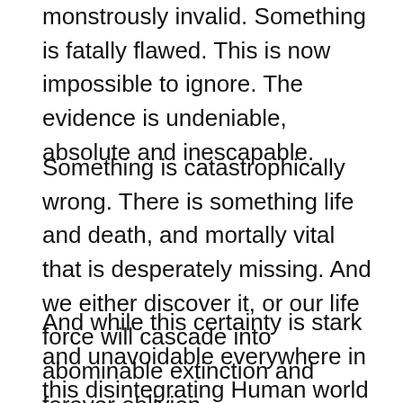monstrously invalid. Something is fatally flawed. This is now impossible to ignore. The evidence is undeniable, absolute and inescapable.
Something is catastrophically wrong. There is something life and death, and mortally vital that is desperately missing. And we either discover it, or our life force will cascade into abominable extinction and forever oblivion.
And while this certainty is stark and unavoidable everywhere in this disintegrating Human world today, the shattering truth is that Humankind cannot find the answer to this mortal and fatal problem. No one on this earth today knows what the real problem is. Human beings on this tortured planet do not truly understand or